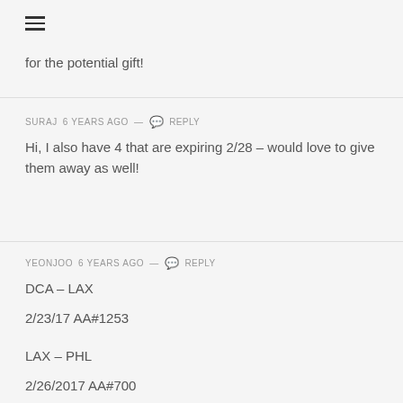[Figure (other): Hamburger menu icon (three horizontal lines)]
for the potential gift!
SURAJ 6 years ago — Reply
Hi, I also have 4 that are expiring 2/28 – would love to give them away as well!
YEONJOO 6 years ago — Reply
DCA – LAX
2/23/17 AA#1253

LAX – PHL
2/26/2017 AA#700